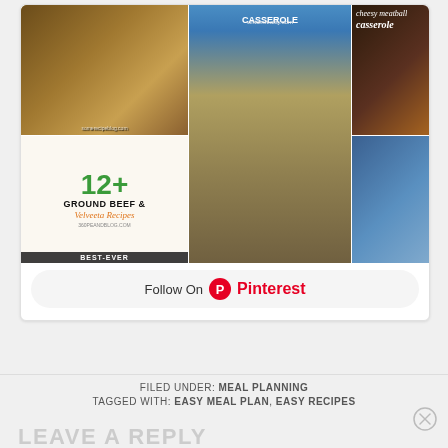[Figure (photo): Pinterest widget showing a collage of food recipe images including ground beef and Velveeta recipes, cheesy meatball casserole, and a casserole dish, with a 'Follow On Pinterest' button below]
FILED UNDER: MEAL PLANNING
TAGGED WITH: EASY MEAL PLAN, EASY RECIPES
LEAVE A REPLY